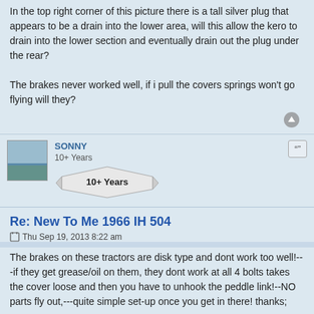In the top right corner of this picture there is a tall silver plug that appears to be a drain into the lower area, will this allow the kero to drain into the lower section and eventually drain out the plug under the rear?

The brakes never worked well, if i pull the covers springs won't go flying will they?
[Figure (photo): User avatar showing a landscape/field scene]
SONNY
10+ Years
[Figure (logo): 10+ Years badge/banner ribbon graphic]
Re: New To Me 1966 IH 504
Thu Sep 19, 2013 8:22 am
The brakes on these tractors are disk type and dont work too well!---if they get grease/oil on them, they dont work at all 4 bolts takes the cover loose and then you have to unhook the peddle link!--NO parts fly out,---quite simple set-up once you get in there! thanks; sonny
[Figure (logo): IH Collectors circular member badge logo in black and white]
http://machinebuildersnetwork.com/